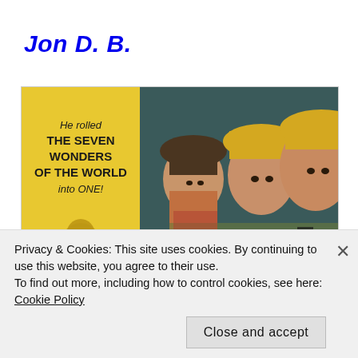Jon D. B.
[Figure (photo): Movie lobby card showing two Asian men wearing yellow hats and a woman in the background. On the left is a yellow poster panel with text: 'He rolled THE SEVEN WONDERS OF THE WORLD into ONE!']
Privacy & Cookies: This site uses cookies. By continuing to use this website, you agree to their use.
To find out more, including how to control cookies, see here: Cookie Policy
Close and accept